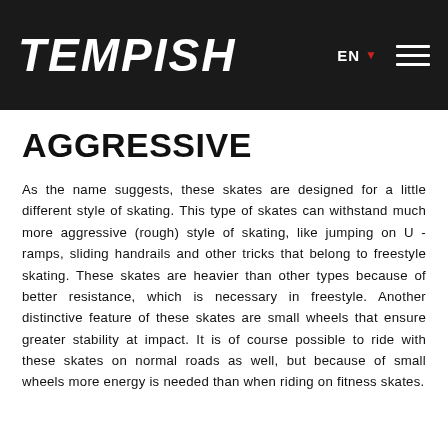TEMPISH  EN  [menu]
AGGRESSIVE
As the name suggests, these skates are designed for a little different style of skating. This type of skates can withstand much more aggressive (rough) style of skating, like jumping on U - ramps, sliding handrails and other tricks that belong to freestyle skating. These skates are heavier than other types because of better resistance, which is necessary in freestyle. Another distinctive feature of these skates are small wheels that ensure greater stability at impact. It is of course possible to ride with these skates on normal roads as well, but because of small wheels more energy is needed than when riding on fitness skates.